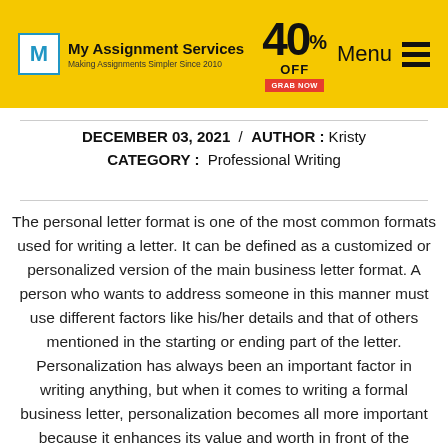[Figure (logo): My Assignment Services logo with yellow header bar, 40% OFF offer badge, and Menu icon]
DECEMBER 03, 2021  /  AUTHOR : Kristy
CATEGORY :  Professional Writing
The personal letter format is one of the most common formats used for writing a letter. It can be defined as a customized or personalized version of the main business letter format. A person who wants to address someone in this manner must use different factors like his/her details and that of others mentioned in the starting or ending part of the letter. Personalization has always been an important factor in writing anything, but when it comes to writing a formal business letter, personalization becomes all more important because it enhances its value and worth in front of the